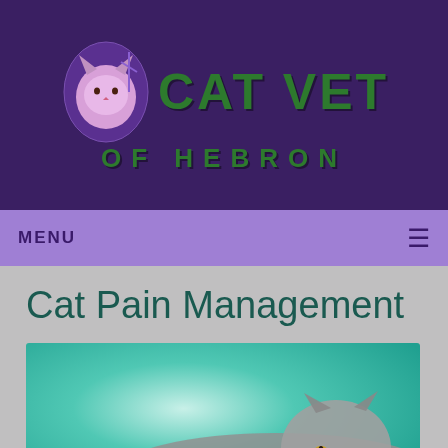[Figure (logo): Cat Vet of Hebron logo with cat icon and green text on dark purple background]
MENU ☰
Cat Pain Management
[Figure (photo): Photo of a cat lying down with teal/mint green background, whiskers visible]